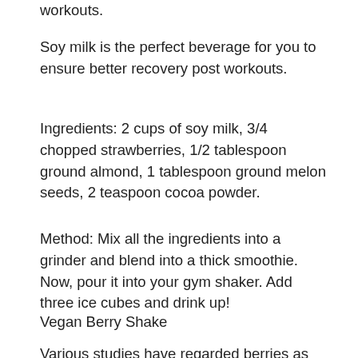workouts.
Soy milk is the perfect beverage for you to ensure better recovery post workouts.
Ingredients: 2 cups of soy milk, 3/4 chopped strawberries, 1/2 tablespoon ground almond, 1 tablespoon ground melon seeds, 2 teaspoon cocoa powder.
Method: Mix all the ingredients into a grinder and blend into a thick smoothie. Now, pour it into your gym shaker. Add three ice cubes and drink up!
Vegan Berry Shake
Various studies have regarded berries as extremely healthy and indicate that they should be a part of your weight loss diet, owing to their high antioxidant levels.